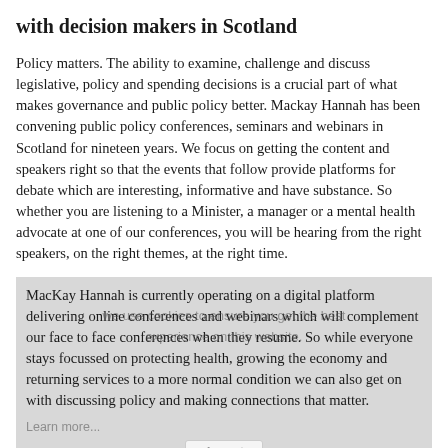with decision makers in Scotland
Policy matters. The ability to examine, challenge and discuss legislative, policy and spending decisions is a crucial part of what makes governance and public policy better. Mackay Hannah has been convening public policy conferences, seminars and webinars in Scotland for nineteen years. We focus on getting the content and speakers right so that the events that follow provide platforms for debate which are interesting, informative and have substance. So whether you are listening to a Minister, a manager or a mental health advocate at one of our conferences, you will be hearing from the right speakers, on the right themes, at the right time.
MacKay Hannah is currently operating on a digital platform delivering online conferences and webinars which will complement our face to face conferences when they resume. So while everyone stays focussed on protecting health, growing the economy and returning services to a more normal condition we can also get on with discussing policy and making connections that matter.
Whether you are a participant, speaker, sponsor or exhibitor we help you to influence policy-making, inform policy development, connect with decision makers and build your network of contacts.